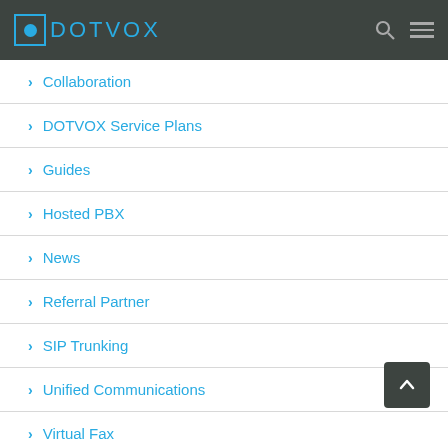DOTVOX
Collaboration
DOTVOX Service Plans
Guides
Hosted PBX
News
Referral Partner
SIP Trunking
Unified Communications
Virtual Fax